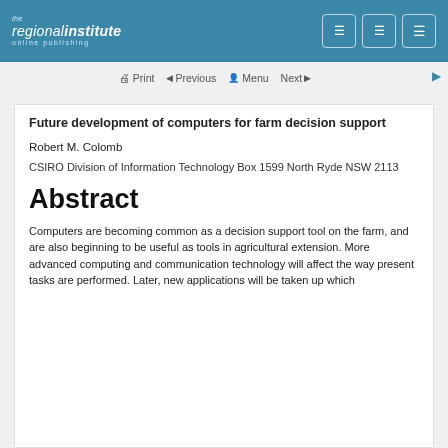the regionalinstitute online publishing
Future development of computers for farm decision support
Robert M. Colomb
CSIRO Division of Information Technology Box 1599 North Ryde NSW 2113
Abstract
Computers are becoming common as a decision support tool on the farm, and are also beginning to be useful as tools in agricultural extension. More advanced computing and communication technology will affect the way present tasks are performed. Later, new applications will be taken up which